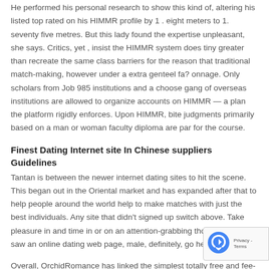He performed his personal research to show this kind of, altering his listed top rated on his HIMMR profile by 1 . eight meters to 1. seventy five metres. But this lady found the expertise unpleasant, she says. Critics, yet , insist the HIMMR system does tiny greater than recreate the same class barriers for the reason that traditional match-making, however under a extra genteel fa?onnage. Only scholars from Job 985 institutions and a choose gang of overseas institutions are allowed to organize accounts on HIMMR — a plan the platform rigidly enforces. Upon HIMMR, bite judgments primarily based on a man or woman faculty diploma are par for the course.
Finest Dating Internet site In Chinese suppliers Guidelines
Tantan is between the newer internet dating sites to hit the scene. This began out in the Oriental market and has expanded after that to help people around the world help to make matches with just the best individuals. Any site that didn't signed up switch above. Take pleasure in and time in or on an attention-grabbing thought, male, i saw an online dating web page, male, definitely, go here.
Overall, OrchidRomance has linked the simplest totally free and fee-based options to look for and contact Chinese young women in search of online dating. That's the earth to be thought of probably the very best sites. In order to